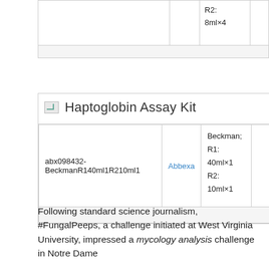|  |  | R2:
8ml×4 |  |
|  |  |  |  |
| --- | --- | --- | --- |
| abx098432-BeckmanR140ml1R210ml1 | Abbexa | Beckman;
R1: 40ml×1
R2: 10ml×1 |  |
Haptoglobin Assay Kit
Following standard science journalism, #FungalPeeps, a challenge initiated at West Virginia University, impressed a mycology analysis challenge in Notre Dame